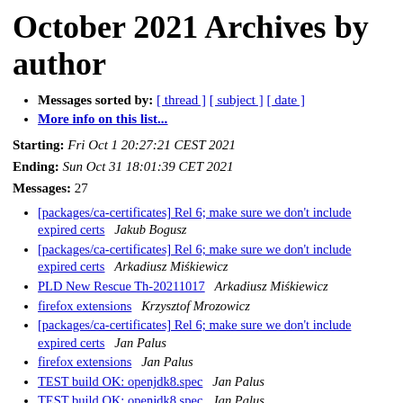October 2021 Archives by author
Messages sorted by: [ thread ] [ subject ] [ date ]
More info on this list...
Starting: Fri Oct 1 20:27:21 CEST 2021
Ending: Sun Oct 31 18:01:39 CET 2021
Messages: 27
[packages/ca-certificates] Rel 6; make sure we don't include expired certs   Jakub Bogusz
[packages/ca-certificates] Rel 6; make sure we don't include expired certs   Arkadiusz Miśkiewicz
PLD New Rescue Th-20211017   Arkadiusz Miśkiewicz
firefox extensions   Krzysztof Mrozowicz
[packages/ca-certificates] Rel 6; make sure we don't include expired certs   Jan Palus
firefox extensions   Jan Palus
TEST build OK: openjdk8.spec   Jan Palus
TEST build OK: openjdk8.spec   Jan Palus
[packages/dracut] - bash is *required* for dracut initramfs to work correctly: rel 2   Jan Palus